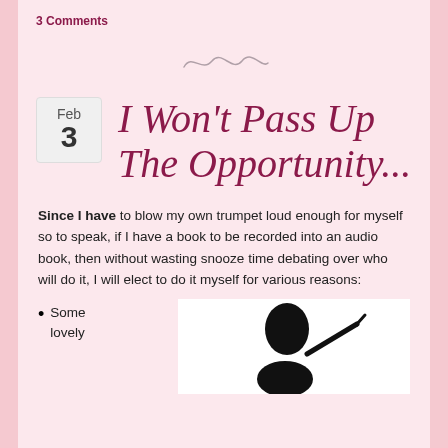3 Comments
[Figure (illustration): A decorative squiggly line divider]
I Won't Pass Up The Opportunity...
Since I have to blow my own trumpet loud enough for myself so to speak, if I have a book to be recorded into an audio book, then without wasting snooze time debating over who will do it, I will elect to do it myself for various reasons:
Some lovely
[Figure (illustration): Silhouette of a person speaking or presenting with a microphone-like object]